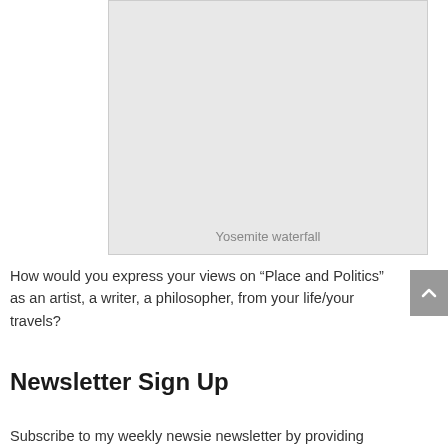[Figure (photo): Large gray placeholder image of a Yosemite waterfall]
Yosemite waterfall
How would you express your views on “Place and Politics” as an artist, a writer, a philosopher, from your life/your travels?
Newsletter Sign Up
Subscribe to my weekly newsie newsletter by providing